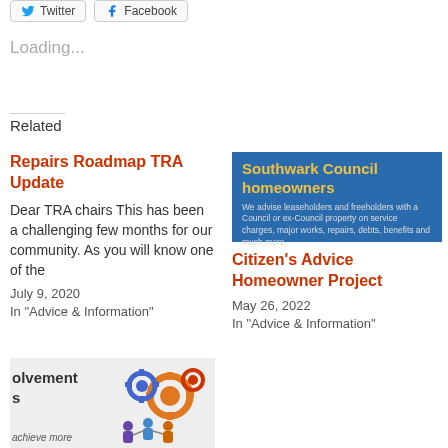[Figure (other): Twitter and Facebook social share buttons]
Loading...
Related
Repairs Roadmap TRA Update
Dear TRA chairs This has been a challenging few months for our community. As you will know one of the
July 9, 2020
In "Advice & Information"
[Figure (photo): Southwark Council homeowners flyer - blue background with yellow heading text and description about advising leaseholders and freeholders]
Citizen's Advice Homeowner Project
May 26, 2022
In "Advice & Information"
[Figure (illustration): Partially visible card showing community involvement text with gear and people icons illustration, and text 'achieve more']